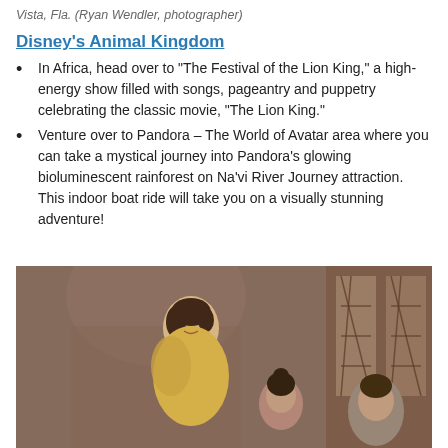Vista, Fla. (Ryan Wendler, photographer)
Disney's Animal Kingdom
In Africa, head over to “The Festival of the Lion King,” a high-energy show filled with songs, pageantry and puppetry celebrating the classic movie, “The Lion King.”
Venture over to Pandora – The World of Avatar area where you can take a mystical journey into Pandora’s glowing bioluminescent rainforest on Na’vi River Journey attraction. This indoor boat ride will take you on a visually stunning adventure!
[Figure (photo): A woman dressed as Belle from Beauty and the Beast smiles and leans toward guests, including a young girl and a man, inside a castle-like setting with arched brick walls and lattice windows.]